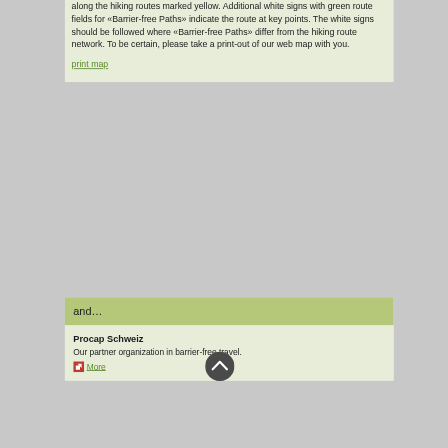along the hiking routes marked yellow. Additional white signs with green route fields for «Barrier-free Paths» indicate the route at key points. The white signs should be followed where «Barrier-free Paths» differ from the hiking route network. To be certain, please take a print-out of our web map with you.
print map
and…
Procap Schweiz
Our partner organization in barrier-free travel.
More